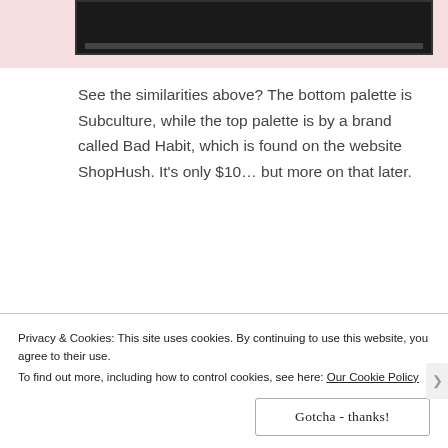[Figure (photo): Partial view of a makeup palette in a dark case with a pink background, cropped at the top of the page]
See the similarities above? The bottom palette is Subculture, while the top palette is by a brand called Bad Habit, which is found on the website ShopHush. It’s only $10… but more on that later.
Bad Habit
[Figure (screenshot): Screenshot of a ShopHush website page showing Bad Habit brand filter controls including view, show 12, and sort by featured options, with product thumbnails partially visible]
Privacy & Cookies: This site uses cookies. By continuing to use this website, you agree to their use.
To find out more, including how to control cookies, see here: Our Cookie Policy
Gotcha - thanks!